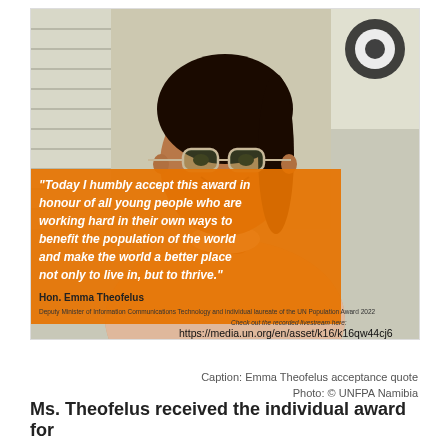[Figure (photo): Portrait photo of Hon. Emma Theofelus, a young woman smiling, wearing glasses and a light pink blazer, with an orange quote overlay. Below the photo are attribution lines and a livestream URL.]
Caption: Emma Theofelus acceptance quote
Photo: © UNFPA Namibia
Ms. Theofelus received the individual award for